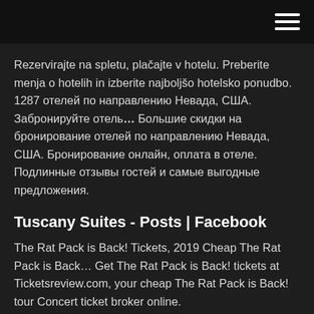Rezervirajte na spletu, plačajte v hotelu. Preberite menja o hotelih in izberite najboljšo hotelsko ponudbo. 1287 отелей по направлению Невада, США. Забронируйте отель… Большие скидки на бронирование отелей по направлению Невада, США. Бронирование онлайн, оплата в отеле. Подлинные отзывы гостей и самые выгодные предложения.
Tuscany Suites - Posts | Facebook
The Rat Pack is Back! Tickets, 2019 Cheap The Rat Pack is Back… Get The Rat Pack is Back! tickets at Ticketsreview.com, your cheap The Rat Pack is Back! tour Concert ticket broker online.